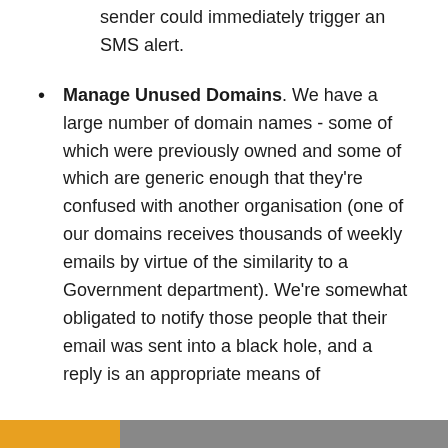sender could immediately trigger an SMS alert.
Manage Unused Domains. We have a large number of domain names - some of which were previously owned and some of which are generic enough that they're confused with another organisation (one of our domains receives thousands of weekly emails by virtue of the similarity to a Government department). We're somewhat obligated to notify those people that their email was sent into a black hole, and a reply is an appropriate means of